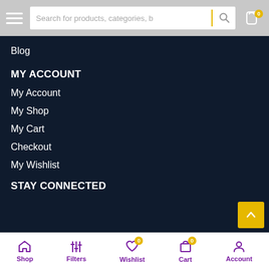Search for products, categories, b
Blog
MY ACCOUNT
My Account
My Shop
My Cart
Checkout
My Wishlist
STAY CONNECTED
Shop  Filters  Wishlist  Cart  Account